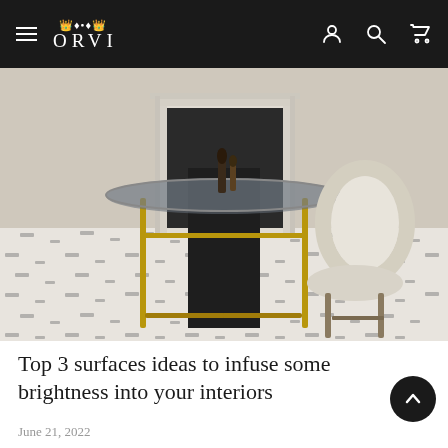ORVI
[Figure (photo): Elegant dining room interior with a round glass table on a brass frame, a white upholstered chair, ornate white fireplace mantle in the background, and a decorative patterned marble tile floor in white with small dark inlays.]
Top 3 surfaces ideas to infuse some brightness into your interiors
June 21, 2022